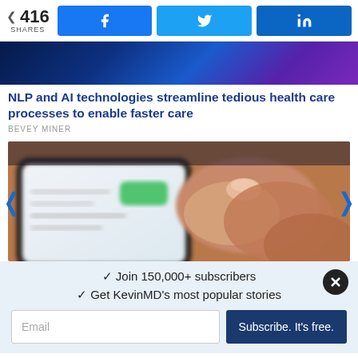416 SHARES
[Figure (photo): Dark blue and purple gradient background image, top of article]
NLP and AI technologies streamline tedious health care processes to enable faster care
BEVEY MINER
[Figure (photo): Close-up photo of a hand using a smartphone, finger touching the screen]
Join 150,000+ subscribers
Get KevinMD's most popular stories
Email  Subscribe. It's free.